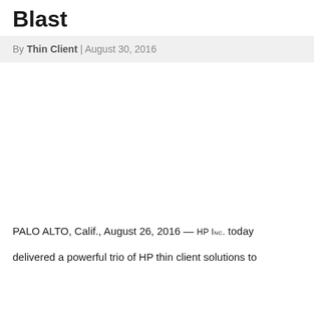Blast
By Thin Client | August 30, 2016
[Figure (photo): Image placeholder area (white/blank)]
PALO ALTO, Calif., August 26, 2016 — HP Inc. today
delivered a powerful trio of HP thin client solutions to